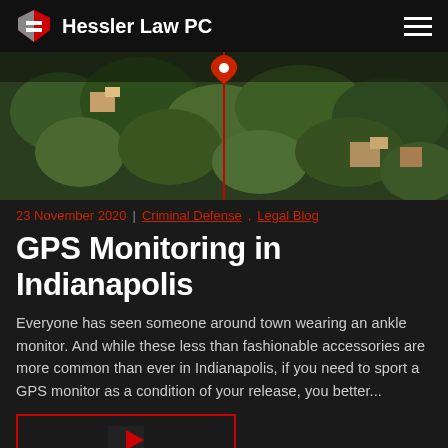Hessler Law PC
[Figure (photo): Aerial view of a forested town with buildings visible through the trees, with a red GPS location pin overlay and a red vertical line descending from the pin.]
23 November 2020  |  Criminal Defense, Legal Blog
GPS Monitoring in Indianapolis
Everyone has seen someone around town wearing an ankle monitor. And while these less than fashionable accessories are more common than ever in Indianapolis, if you need to sport a GPS monitor as a condition of your release, you better...
[Figure (photo): Thumbnail image with red border at bottom of page (partially visible)]